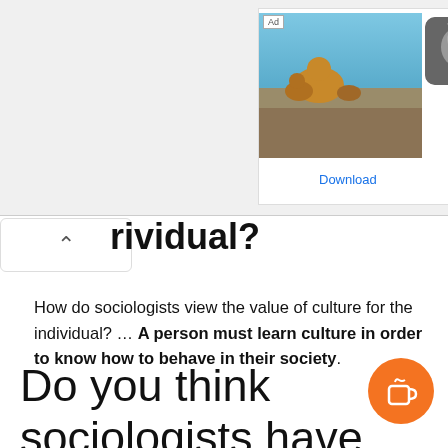[Figure (photo): Advertisement banner with wildlife photo showing bears/foxes on rocks, small wolf thumbnail, 'Ad' label, 'Joi' text, and 'Download' link in blue]
...rdividual?
How do sociologists view the value of culture for the individual? ... A person must learn culture in order to know how to behave in their society.
Do you think sociologists have overemphasized the importance of socia...